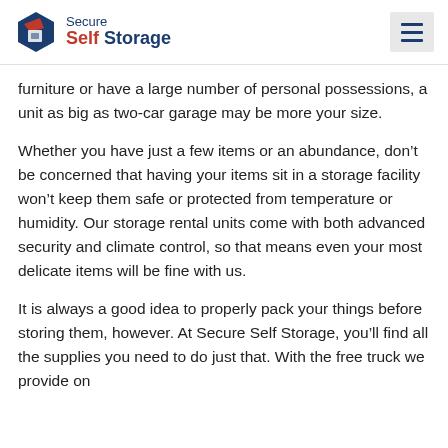Secure Self Storage
furniture or have a large number of personal possessions, a unit as big as two-car garage may be more your size.
Whether you have just a few items or an abundance, don't be concerned that having your items sit in a storage facility won't keep them safe or protected from temperature or humidity. Our storage rental units come with both advanced security and climate control, so that means even your most delicate items will be fine with us.
It is always a good idea to properly pack your things before storing them, however. At Secure Self Storage, you'll find all the supplies you need to do just that. With the free truck we provide on